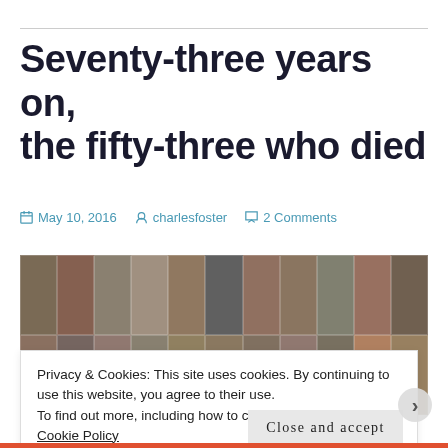Seventy-three years on, the fifty-three who died
May 10, 2016   charlesfoster   2 Comments
[Figure (photo): A grid of 22 black-and-white portrait photographs of men, arranged in two rows of 11, with varying tones.]
Privacy & Cookies: This site uses cookies. By continuing to use this website, you agree to their use.
To find out more, including how to control cookies, see here: Cookie Policy
Close and accept